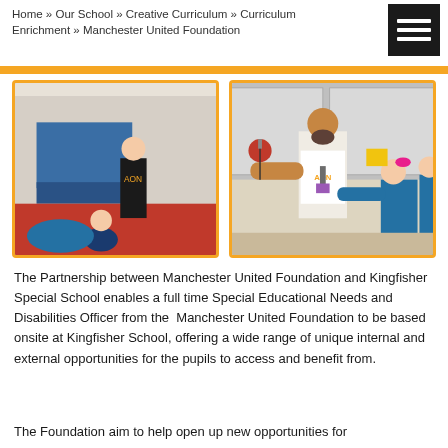Home » Our School » Creative Curriculum » Curriculum Enrichment » Manchester United Foundation
[Figure (photo): Two photos side by side with orange borders. Left: a man in a Manchester United AON shirt assisting a young child on a red gym mat. Right: a bearded man in an AON white shirt helping children in a classroom with a decorative item.]
The Partnership between Manchester United Foundation and Kingfisher Special School enables a full time Special Educational Needs and Disabilities Officer from the  Manchester United Foundation to be based onsite at Kingfisher School, offering a wide range of unique internal and external opportunities for the pupils to access and benefit from.
The Foundation aim to help open up new opportunities for